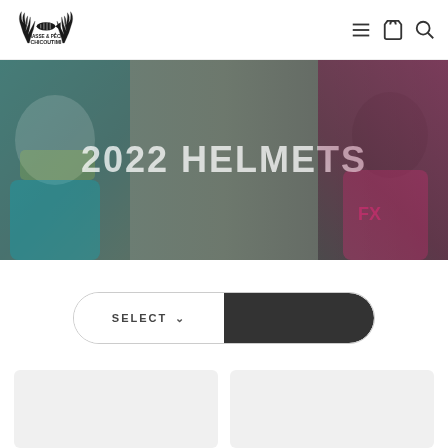[Figure (logo): Chasse & Pêche Chicoutimi logo with antlers and fish]
[Figure (photo): 2022 Helmets hero banner showing two motocross riders wearing helmets, one in blue/teal on the left and one in pink/black on the right, with overlaid text '2022 HELMETS']
2022 HELMETS
[Figure (screenshot): Filter/sort bar with SELECT dropdown on left and dark right half, rounded pill shape]
[Figure (photo): Two product card placeholders (light gray rectangles) at the bottom of the page]